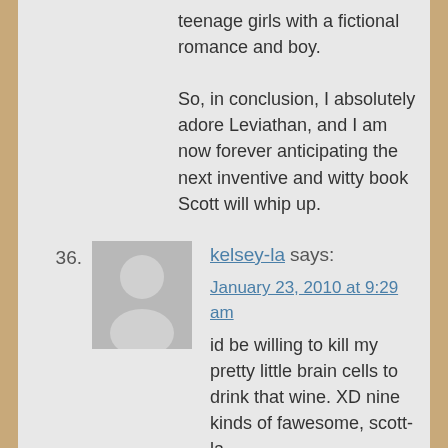teenage girls with a fictional romance and boy.

So, in conclusion, I absolutely adore Leviathan, and I am now forever anticipating the next inventive and witty book Scott will whip up.
36. kelsey-la says:
January 23, 2010 at 9:29 am
id be willing to kill my pretty little brain cells to drink that wine. XD nine kinds of fawesome, scott-la.

congrats to you for your nom. leviathan = LOVE.
*is not going to get a good night's sleep until Behemoth is out and in